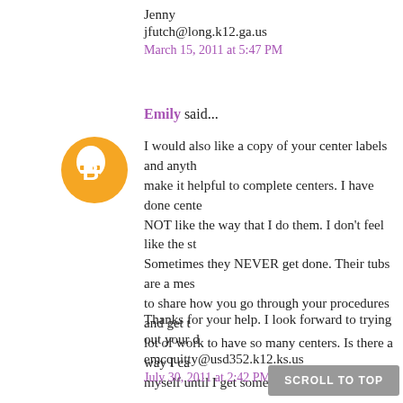Jenny
jfutch@long.k12.ga.us
March 15, 2011 at 5:47 PM
Emily said...
[Figure (illustration): Orange Blogger avatar icon with white B symbol]
I would also like a copy of your center labels and anyth make it helpful to complete centers. I have done cente NOT like the way that I do them. I don't feel like the st Sometimes they NEVER get done. Their tubs are a mes to share how you go through your procedures and get t lot of work to have so many centers. Is there a way I ca myself until I get some resources built up?
Thanks for your help. I look forward to trying out your d
emcquitty@usd352.k12.ks.us
July 30, 2011 at 2:42 PM